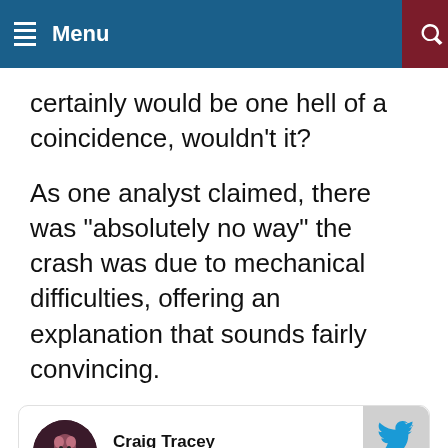Menu
certainly would be one hell of a coincidence, wouldn't it?
As one analyst claimed, there was “absolutely no way” the crash was due to mechanical difficulties, offering an explanation that sounds fairly convincing.
[Figure (screenshot): Embedded tweet card from Craig Tracey (@craig_tracey) with Follow button and Twitter bird logo]